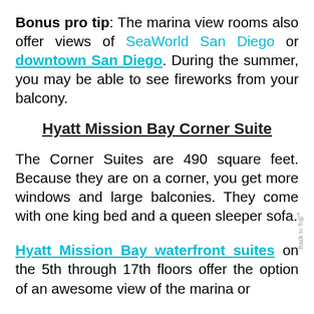Bonus pro tip: The marina view rooms also offer views of SeaWorld San Diego or downtown San Diego. During the summer, you may be able to see fireworks from your balcony.
Hyatt Mission Bay Corner Suite
The Corner Suites are 490 square feet. Because they are on a corner, you get more windows and large balconies. They come with one king bed and a queen sleeper sofa.
Hyatt Mission Bay waterfront suites on the 5th through 17th floors offer the option of an awesome view of the marina or